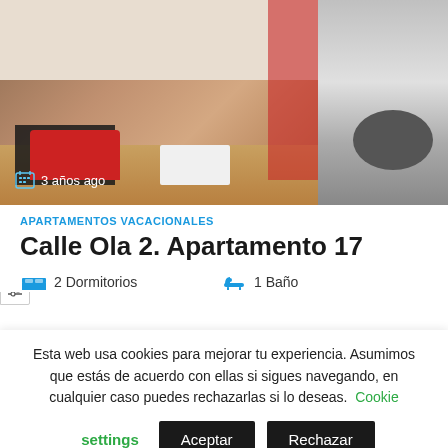[Figure (photo): Interior photo of a vacation apartment showing a living room with red sofa, dark dining table, white coffee table, red curtains, and kitchen area visible on the right. Timestamp badge shows '3 años ago'.]
APARTAMENTOS VACACIONALES
Calle Ola 2. Apartamento 17
2 Dormitorios   1 Baño
Esta web usa cookies para mejorar tu experiencia. Asumimos que estás de acuerdo con ellas si sigues navegando, en cualquier caso puedes rechazarlas si lo deseas. Cookie settings   Aceptar   Rechazar